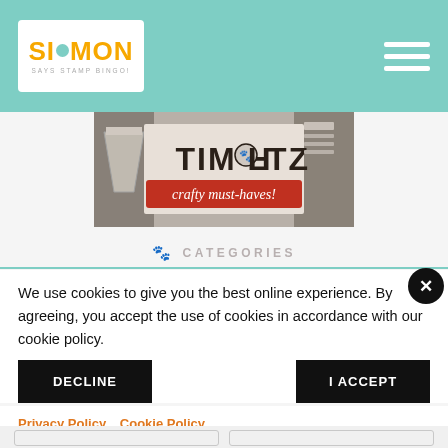Simon Says Stamp Bingo! — Navigation Header
[Figure (illustration): Simon Says Stamp Bingo logo with a cartoon dog, orange text, and teal background in a white box]
[Figure (illustration): Tim Holtz crafty must-haves promotional banner ad with stylized text on a decorative background]
🐾 CATEGORIES
We use cookies to give you the best online experience. By agreeing, you accept the use of cookies in accordance with our cookie policy.
DECLINE   I ACCEPT
Privacy Policy  Cookie Policy